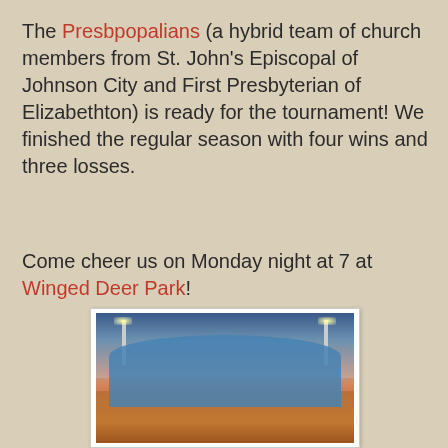The Presbpopalians (a hybrid team of church members from St. John's Episcopal of Johnson City and First Presbyterian of Elizabethton) is ready for the tournament! We finished the regular season with four wins and three losses.

Come cheer us on Monday night at 7 at Winged Deer Park!
[Figure (photo): A group of people in matching blue t-shirts celebrating outdoors on a softball/baseball field at dusk, raising their hands and cheering, with stadium lights visible in the background.]